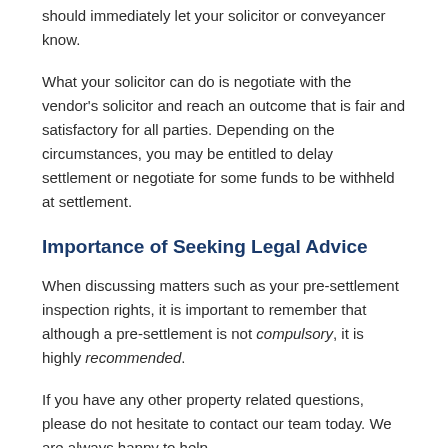should immediately let your solicitor or conveyancer know.
What your solicitor can do is negotiate with the vendor's solicitor and reach an outcome that is fair and satisfactory for all parties. Depending on the circumstances, you may be entitled to delay settlement or negotiate for some funds to be withheld at settlement.
Importance of Seeking Legal Advice
When discussing matters such as your pre-settlement inspection rights, it is important to remember that although a pre-settlement is not compulsory, it is highly recommended.
If you have any other property related questions, please do not hesitate to contact our team today. We are always happy to help.